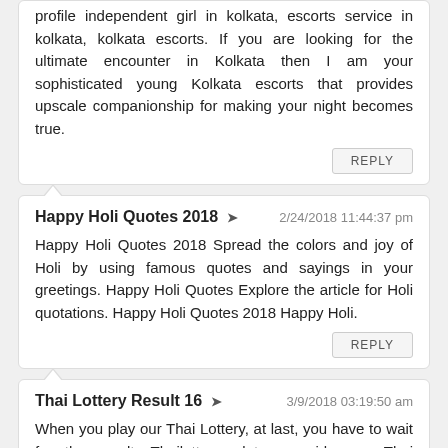profile independent girl in kolkata, escorts service in kolkata, kolkata escorts. If you are looking for the ultimate encounter in Kolkata then I am your sophisticated young Kolkata escorts that provides upscale companionship for making your night becomes true.
REPLY
Happy Holi Quotes 2018 → 2/24/2018 11:44:37 pm
Happy Holi Quotes 2018 Spread the colors and joy of Holi by using famous quotes and sayings in your greetings. Happy Holi Quotes Explore the article for Holi quotations. Happy Holi Quotes 2018 Happy Holi.
REPLY
Thai Lottery Result 16 → 3/9/2018 03:19:50 am
When you play our Thai Lottery, at last, you have to wait for the result. Thailotteryupdates provide you Thai Lottery Result Thailand Lottery Result live
REPLY